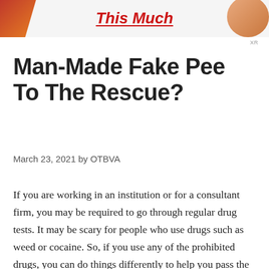[Figure (illustration): Top banner image with partial food/product images on left and right, and a red italic logo text 'This Much' in the center]
XR
Man-Made Fake Pee To The Rescue?
March 23, 2021 by OTBVA
If you are working in an institution or for a consultant firm, you may be required to go through regular drug tests. It may be scary for people who use drugs such as weed or cocaine. So, if you use any of the prohibited drugs, you can do things differently to help you pass the test. You need the best synthetic urine for this purpose. It will help you take the test with